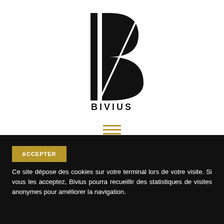[Figure (logo): BIVIUS eat & sleep logo — stylized B letterform in black with two vertical bars and curved strokes, with 'BIVIUS' in uppercase and 'eat & sleep' in italic below]
[Figure (other): Hamburger/menu icon with three horizontal golden lines]
ACCEPTER
Ce site dépose des cookies sur votre terminal lors de votre visite. Si vous les acceptez, Bivius pourra recueillir des statistiques de visites anonymes pour améliorer la navigation.